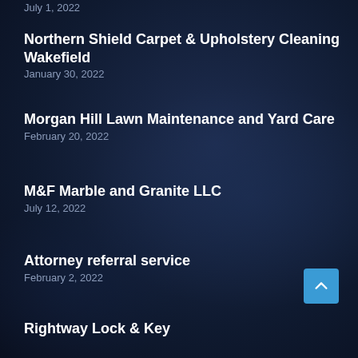July 1, 2022
Northern Shield Carpet & Upholstery Cleaning Wakefield
January 30, 2022
Morgan Hill Lawn Maintenance and Yard Care
February 20, 2022
M&F Marble and Granite LLC
July 12, 2022
Attorney referral service
February 2, 2022
Rightway Lock & Key